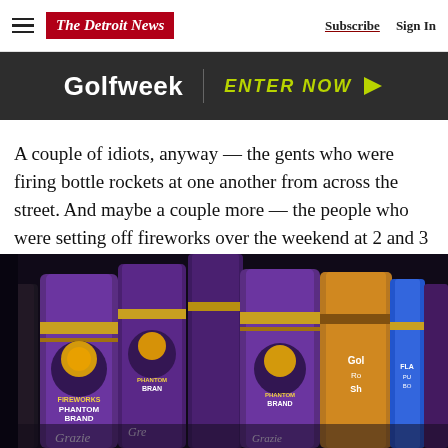The Detroit News | Subscribe | Sign In
[Figure (infographic): Golfweek advertisement banner with dark background, Golfweek logo and ENTER NOW call to action with arrow]
A couple of idiots, anyway — the gents who were firing bottle rockets at one another from across the street. And maybe a couple more — the people who were setting off fireworks over the weekend at 2 and 3 a.m.
[Figure (photo): Close-up photo of Phantom Brand fireworks canisters in purple and gold packaging on store shelves]